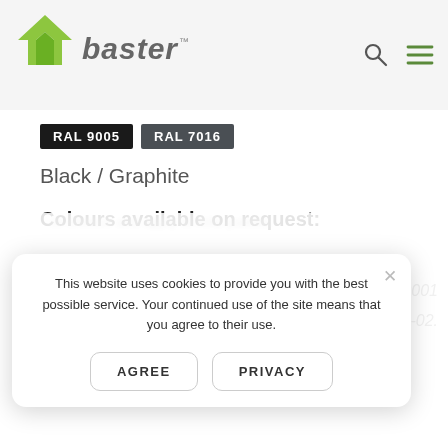[Figure (logo): Baster brand logo with green Y-shaped arrow and italic grey text 'Baster' with TM mark]
[Figure (other): Color wheel showing full spectrum of available colours]
RAL 9005   RAL 7016
Black / Graphite
Colours available on request:
This website uses cookies to provide you with the best possible service. Your continued use of the site means that you agree to their use.
AGREE   PRIVACY